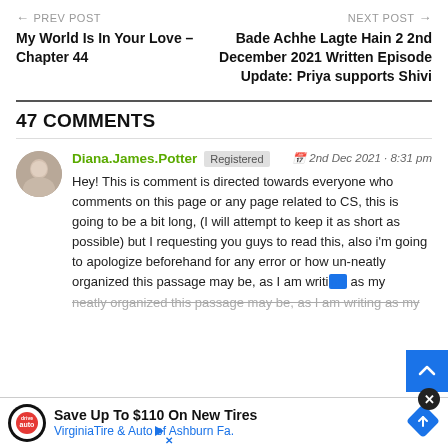← PREV POST | My World Is In Your Love – Chapter 44 | NEXT POST → | Bade Achhe Lagte Hain 2 2nd December 2021 Written Episode Update: Priya supports Shivi
47 COMMENTS
Diana.James.Potter Registered 2nd Dec 2021 · 8:31 pm
Hey! This is comment is directed towards everyone who comments on this page or any page related to CS, this is going to be a bit long, (I will attempt to keep it as short as possible) but I requesting you guys to read this, also i'm going to apologize beforehand for any error or how un-neatly organized this passage may be, as I am writing as my ... to start; ... nts, like.
Save Up To $110 On New Tires VirginiaTire & Auto of Ashburn Fa.